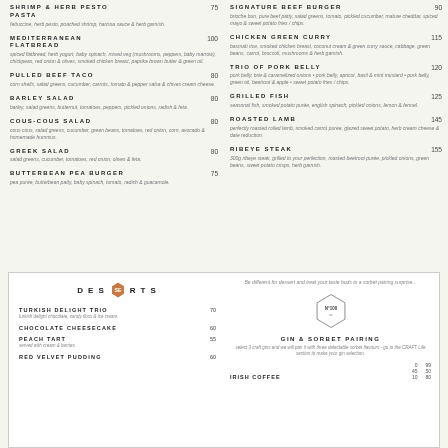SHRIMP & HERB PESTO PASTA 75 - fettuccine, herb pesto, poached shrimp, harissa sauce & herb garnish.
MEDITERRANEAN FLATBREAD 100 - spiced flatbread, herb yogurt, baby spinach, mixed veg (mushrooms, peppers, baby marrow), chickpeas, red onion & olives, smoked chicken breast, paprika brown butter & green oil.
PULLED BEEF TACO 80 - corn shells, salad greens, cucumber, carrots, tomato & pepper salsa & chives cream cheese.
BARLEY SALAD 80 - barley, salad greens, butternut, tomatoes, peppers, pickled onions, radish & feta.
COUS-COUS SALAD 80 - cous cous, salad greens, cucumber, green beans, tomatoes, red onion, corn, avocado & homemade hummus.
GREEK SALAD 80 - salad greens, cucumber, tomatoes, red onion, olives & feta.
BUTTERBEAN PEA BURGER 75 - pea purée, butterbean patty, baby spinach, tomato, radish & guacamole.
SIGNATURE BEEF BURGER 90 - brioche bun, pure beef patty, salad greens, tomato, pickled cucumber, mature cheddar, spiced mayo & sweet potato fries / chips.
CHICKEN GREEN CURRY 115 - basmati rice, smoked chicken breast, coconut cream & green curry sauce, cabbage, green beans, carrot, broccoli, mushrooms & herb garnish.
TRIO OF PORK BELLY 120 - pork belly, brie & caramelized onions • pork belly, apricot, basil & mint mustard • pork belly, green oil, beetroot & apple • sweet potato fries / chips.
GRILLED FISH 125 - seasonal fish, smoked potato purée, english spinach, pickled onions, lemon & fennel.
ROASTED LAMB 145 - perfectly roasted rolled lamb, smoked carrot purée, glazed sweet potato, herb cream cheese & date reduction.
RIBEYE STEAK 155 - 300g ribeye steak, grilled to your perfection, roasted beetroot purée, pickled onions, green beans, sweet potato crisps, herb garnish.
DESSERTS
TURKISH DELIGHT TRIO 70 - turkish delight chocolate, candy floss & ice cream.
CHOCOLATE CHEESECAKE 60
PEACH TART 55 - served with cream & berries.
RED VELVET PUDDING 60
Be different for dessert and treat your taste buds to a sorbet pairing surprise...
[Figure (logo): Hexagon logo with N°100 co. text]
GIN & SORBET PAIRING
select 3 craft gins and we will pair it with three delectable sorbet flavours - go to the CRAFT Life section to make your gin selection.
IRISH COFFEE - 0 99 / 45 50 / 10 80